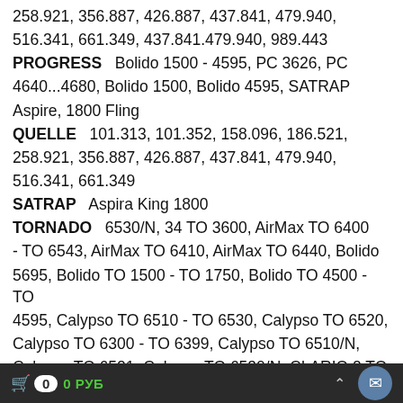258.921, 356.887, 426.887, 437.841, 479.940, 516.341, 661.349, 437.841.479.940, 989.443
PROGRESS   Bolido 1500 - 4595, PC 3626, PC 4640…4680, Bolido 1500, Bolido 4595, SATRAP Aspire, 1800 Fling
QUELLE   101.313, 101.352, 158.096, 186.521, 258.921, 356.887, 426.887, 437.841, 479.940, 516.341, 661.349
SATRAP   Aspira King 1800
TORNADO   6530/N, 34 TO 3600, AirMax TO 6400 - TO 6543, AirMax TO 6410, AirMax TO 6440, Bolido 5695, Bolido TO 1500 - TO 1750, Bolido TO 4500 - TO 4595, Calypso TO 6510 - TO 6530, Calypso TO 6520, Calypso TO 6300 - TO 6399, Calypso TO 6510/N, Calypso TO 6521, Calypso TO 6530/N, CLARIO 2 TO
🛒 0  0 РУБ